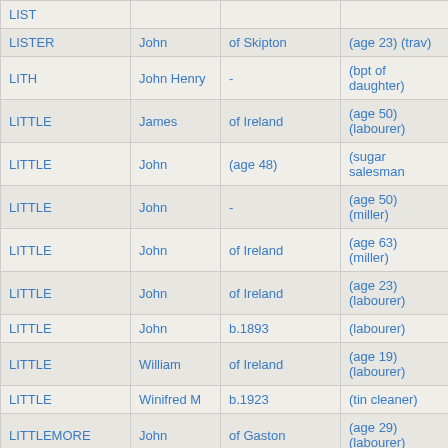| LIST |  |  |  |
| LISTER | John | of Skipton | (age 23) (trav) |
| LITH | John Henry | - | (bpt of daughter) |
| LITTLE | James | of Ireland | (age 50) (labourer) |
| LITTLE | John | (age 48) | (sugar salesman |
| LITTLE | John | - | (age 50) (miller) |
| LITTLE | John | of Ireland | (age 63) (miller) |
| LITTLE | John | of Ireland | (age 23) (labourer) |
| LITTLE | John | b.1893 | (labourer) |
| LITTLE | William | of Ireland | (age 19) (labourer) |
| LITTLE | Winifred M | b.1923 | (tin cleaner) |
| LITTLEMORE | John | of Gaston | (age 29) (labourer) |
| LITTLER | Joan | b.1921 | (labourer) |
| LITTMODEN | Christopher | - | (bpt of daughter) |
| LITTMODER | Christian | of Germany (age 22) | F.Goodhart Son & Co |